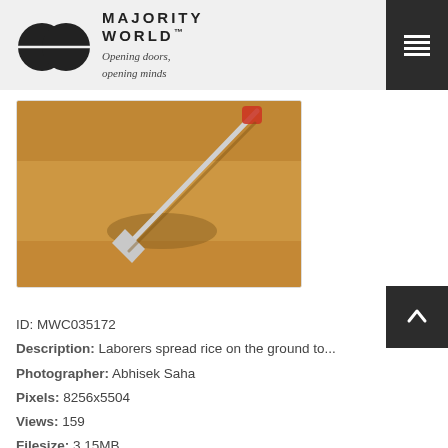MAJORITY WORLD™ — Opening doors, opening minds
[Figure (photo): Overhead view of laborers spreading rice on the ground with a tool, sandy/grain surface with shadows visible]
ID: MWC035172
Description: Laborers spread rice on the ground to...
Photographer: Abhisek Saha
Pixels: 8256x5504
Views: 159
Filesize: 3.15MB
Filename: MWC035172.jpg
Owner: Abhisek Saha
Added: Jan 2, 2021